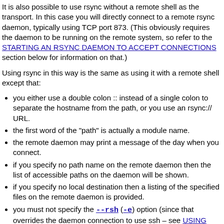It is also possible to use rsync without a remote shell as the transport. In this case you will directly connect to a remote rsync daemon, typically using TCP port 873. (This obviously requires the daemon to be running on the remote system, so refer to the STARTING AN RSYNC DAEMON TO ACCEPT CONNECTIONS section below for information on that.)
Using rsync in this way is the same as using it with a remote shell except that:
you either use a double colon :: instead of a single colon to separate the hostname from the path, or you use an rsync:// URL.
the first word of the "path" is actually a module name.
the remote daemon may print a message of the day when you connect.
if you specify no path name on the remote daemon then the list of accessible paths on the daemon will be shown.
if you specify no local destination then a listing of the specified files on the remote daemon is provided.
you must not specify the --rsh (-e) option (since that overrides the daemon connection to use ssh – see USING RSYNC-DAEMON FEATURES VIA A REMOTE-SHELL CONNECTION below).